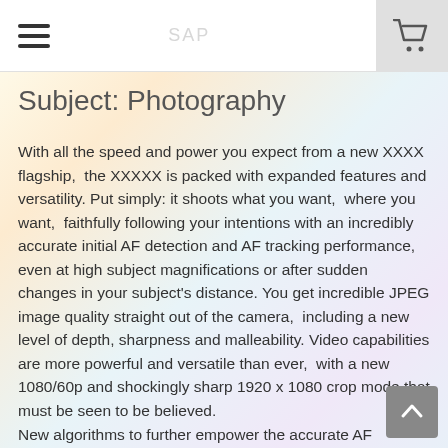SAP [redacted]
Subject: Photography
With all the speed and power you expect from a new XXXX flagship,  the XXXXX is packed with expanded features and versatility. Put simply: it shoots what you want,  where you want,  faithfully following your intentions with an incredibly accurate initial AF detection and AF tracking performance,  even at high subject magnifications or after sudden changes in your subject's distance. You get incredible JPEG image quality straight out of the camera,  including a new level of depth, sharpness and malleability. Video capabilities are more powerful and versatile than ever,  with a new 1080/60p and shockingly sharp 1920 x 1080 crop mode that must be seen to be believed.
New algorithms to further empower the accurate AF acquisition of extremely fast and erratically moving subjects, both near and far
Tenacious AF tracking, even when subjects are